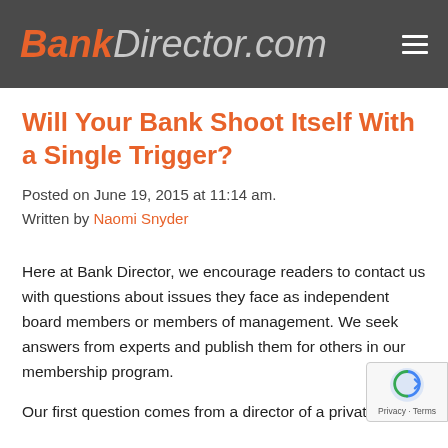BankDirector.com
Will Your Bank Shoot Itself With a Single Trigger?
Posted on June 19, 2015 at 11:14 am.
Written by Naomi Snyder
Here at Bank Director, we encourage readers to contact us with questions about issues they face as independent board members or members of management. We seek answers from experts and publish them for others in our membership program.
Our first question comes from a director of a privately